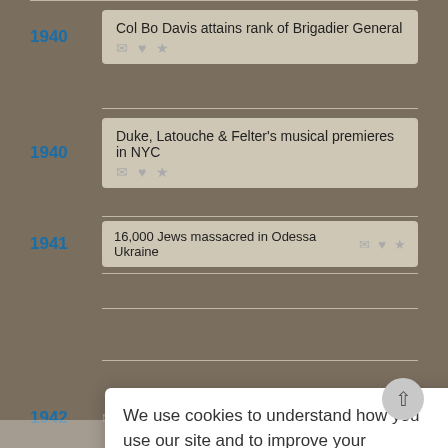1940 — Col Bo Davis attains rank of Brigadier General
1940 — Duke, Latouche & Felter's musical premieres in NYC
1941 — 16,000 Jews massacred in Odessa Ukraine
1942 — (partial, obscured)
We use cookies to understand how you use our site and to improve your experience. This includes personalizing content for you and for the display and tracking of advertising. By continuing to use our site, you accept and agree to our use of cookies. Privacy Policy
Got it!